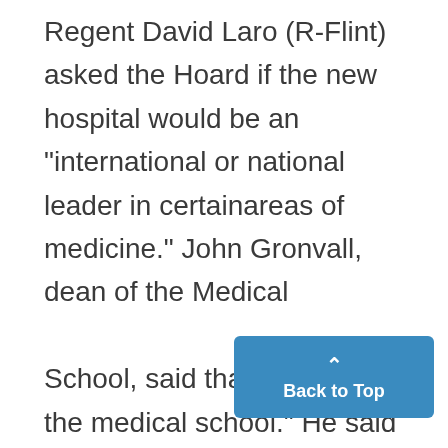Regent David Laro (R-Flint) asked the Hoard if the new hospital would be an "international or national leader in certainareas of medicine." John Gronvall, dean of the Medical School, said that is "a desire of the medical school." He said the hospital is already developing specialty in cardiology and cancer research and is recruiting new staff members with the idea of bringing the University top. RECOMMENDATIONS concerning